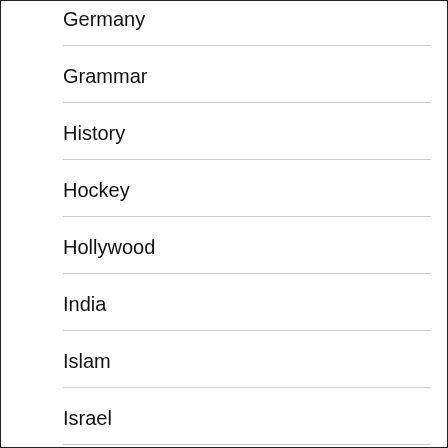Germany
Grammar
History
Hockey
Hollywood
India
Islam
Israel
Italy
Japan